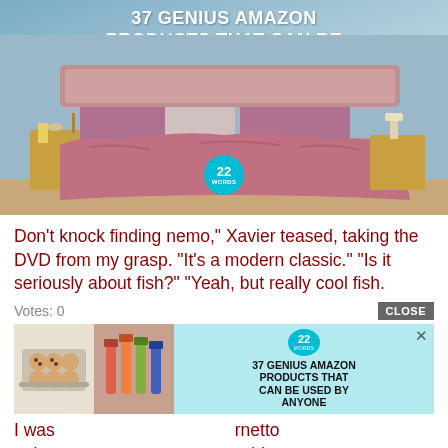[Figure (photo): Advertisement image showing a bed with pink/mauve duvet and pillows against a blue-grey wall. An overhead gold pendant lamp is visible. Text overlay reads '37 GENIUS AMAZON PRODUCTS THAT CAN BE USED BY ANYONE'. A teal '22 WORDS' badge is overlaid on the bed.]
Don't knock finding nemo," Xavier teased, taking the DVD from my grasp. "It's a modern classic." "Is it seriously about fish?" "Yeah, but really cool fish.
Votes: 0
[Figure (screenshot): Popup advertisement with light blue background showing two images (cookies on baking tray; makeup/lip products) and right side with 22 Words badge and text '37 GENIUS AMAZON PRODUCTS THAT CAN BE USED BY ANYONE'. Has a CLOSE button and X dismiss icon.]
I was ... rnetto
trying ... uld